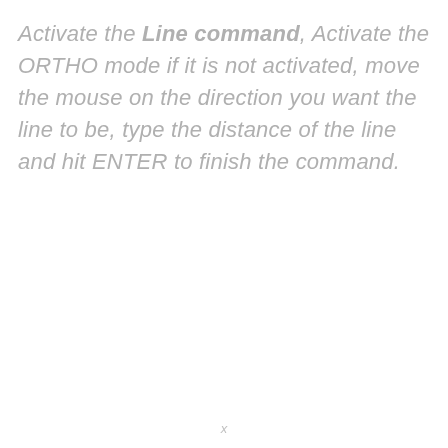Activate the Line command, Activate the ORTHO mode if it is not activated, move the mouse on the direction you want the line to be, type the distance of the line and hit ENTER to finish the command.
x